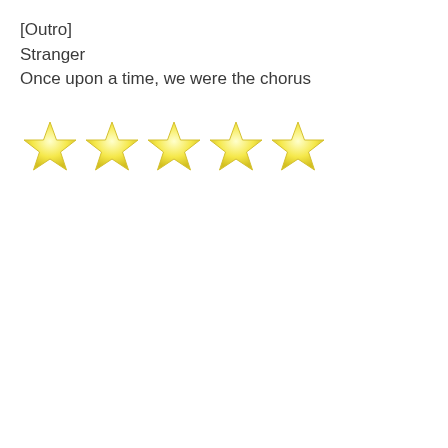[Outro]
Stranger
Once upon a time, we were the chorus
[Figure (illustration): Five yellow star emoji in a row representing a 5-star rating]